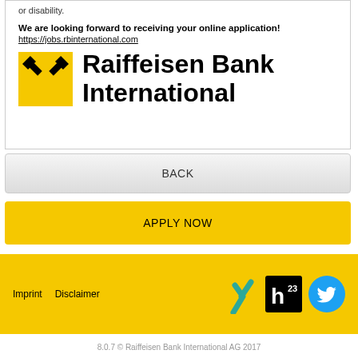or disability.
We are looking forward to receiving your online application!
https://jobs.rbinternational.com
[Figure (logo): Raiffeisen Bank International logo with yellow square icon showing crossed hammers and bold text 'Raiffeisen Bank International']
BACK
APPLY NOW
Imprint   Disclaimer
[Figure (infographic): Social media icons: Xing (teal arrow), Heroku (black square with h logo), Twitter (teal bird icon)]
8.0.7 © Raiffeisen Bank International AG 2017